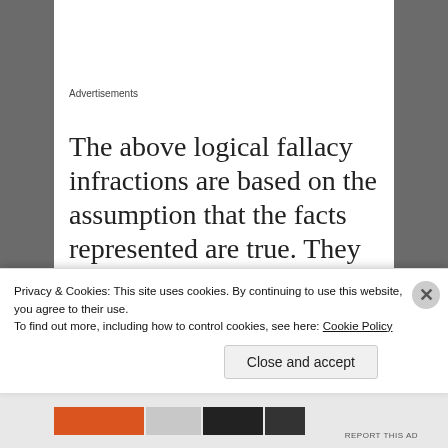Advertisements
The above logical fallacy infractions are based on the assumption that the facts represented are true. They are not. To start, this was not a shootout between two skinhead gangs. It was between two biker gangs, SOME of whom sported some Nazi symbols. However, one gang is called the
Privacy & Cookies: This site uses cookies. By continuing to use this website, you agree to their use.
To find out more, including how to control cookies, see here: Cookie Policy
Close and accept